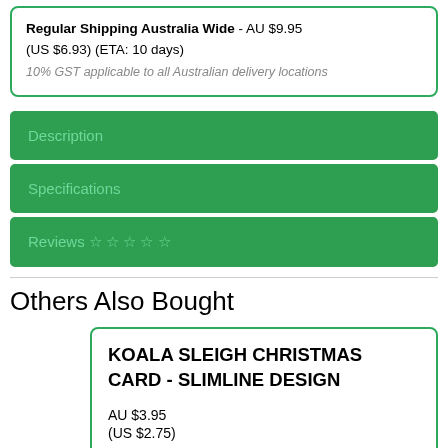Regular Shipping Australia Wide - AU $9.95 (US $6.93) (ETA: 10 days)
10% GST applicable to all Australian delivery locations
Description
Specifications
Reviews ☆ ☆ ☆ ☆ ☆
Others Also Bought
KOALA SLEIGH CHRISTMAS CARD - SLIMLINE DESIGN
AU $3.95
(US $2.75)